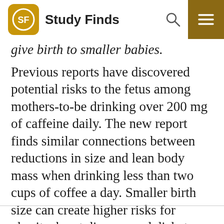Study Finds
give birth to smaller babies.
Previous reports have discovered potential risks to the fetus among mothers-to-be drinking over 200 mg of caffeine daily. The new report finds similar connections between reductions in size and lean body mass when drinking less than two cups of coffee a day. Smaller birth size can create higher risks for obesity, heart disease, and diabetes later in life.